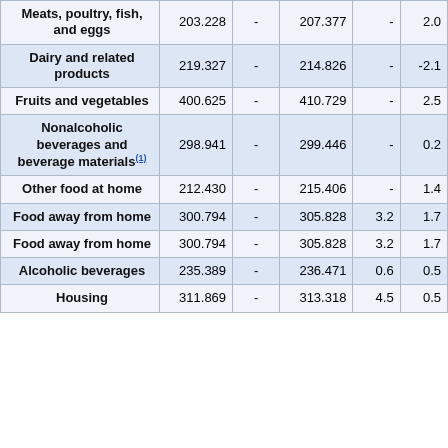| Category | Value1 | Col2 | Value2 | Col4 | Col5 |
| --- | --- | --- | --- | --- | --- |
| Meats, poultry, fish, and eggs | 203.228 | - | 207.377 | - | 2.0 |
| Dairy and related products | 219.327 | - | 214.826 | - | -2.1 |
| Fruits and vegetables | 400.625 | - | 410.729 | - | 2.5 |
| Nonalcoholic beverages and beverage materials(1) | 298.941 | - | 299.446 | - | 0.2 |
| Other food at home | 212.430 | - | 215.406 | - | 1.4 |
| Food away from home | 300.794 | - | 305.828 | 3.2 | 1.7 |
| Food away from home | 300.794 | - | 305.828 | 3.2 | 1.7 |
| Alcoholic beverages | 235.389 | - | 236.471 | 0.6 | 0.5 |
| Housing | 311.869 | - | 313.318 | 4.5 | 0.5 |